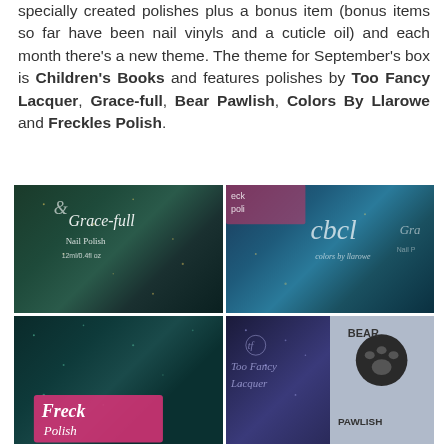specially created polishes plus a bonus item (bonus items so far have been nail vinyls and a cuticle oil) and each month there's a new theme. The theme for September's box is Children's Books and features polishes by Too Fancy Lacquer, Grace-full, Bear Pawlish, Colors By Llarowe and Freckles Polish.
[Figure (photo): A 2x2 grid of nail polish bottles. Top-left: Grace-full Nail Polish bottle showing dark teal/green glitter polish with label reading 'Grace-full Nail Polish 12ml/0.4fl oz'. Top-right: Colors by Llarowe bottle showing blue teal shimmer polish. Bottom-left: Freckles Polish showing dark teal glitter with a pink label reading 'Freckles Polish'. Bottom-right split: Too Fancy Lacquer showing blue-purple glitter polish, and Bear Pawlish showing a light purple bottle with bear paw logo and 'BEAR PAWLISH' text.]